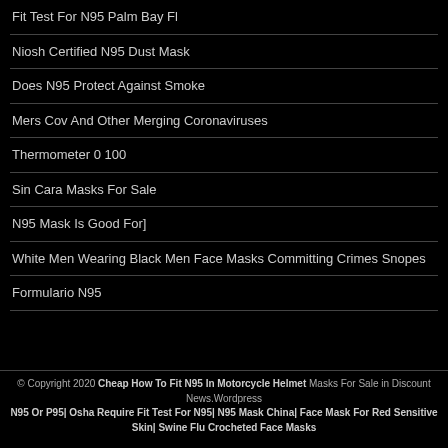Fit Test For N95 Palm Bay Fl
Niosh Certified N95 Dust Mask
Does N95 Protect Against Smoke
Mers Cov And Other Merging Coronaviruses
Thermometer 0 100
Sin Cara Masks For Sale
N95 Mask Is Good For]
White Men Wearing Black Men Face Masks Committing Crimes Snopes
Formulario N95
© Copyright 2020 Cheap How To Fit N95 In Motorcycle Helmet Masks For Sale in Discount News.Wordpress N95 Or P95| Osha Require Fit Test For N95| N95 Mask China| Face Mask For Red Sensitive Skin| Swine Flu Crocheted Face Masks